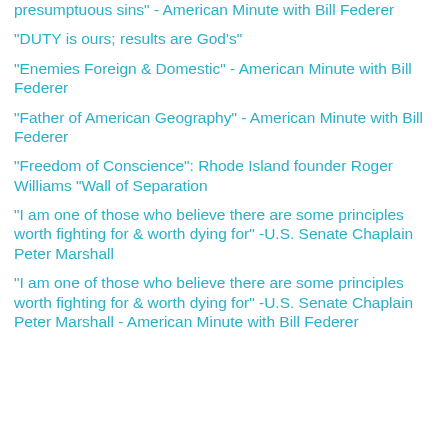presumptuous sins" - American Minute with Bill Federer
"DUTY is ours; results are God's"
"Enemies Foreign & Domestic" - American Minute with Bill Federer
"Father of American Geography" - American Minute with Bill Federer
"Freedom of Conscience": Rhode Island founder Roger Williams "Wall of Separation
"I am one of those who believe there are some principles worth fighting for & worth dying for" -U.S. Senate Chaplain Peter Marshall
"I am one of those who believe there are some principles worth fighting for & worth dying for" -U.S. Senate Chaplain Peter Marshall - American Minute with Bill Federer